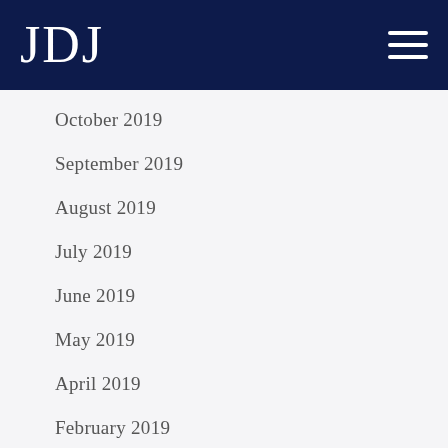JDJ
October 2019
September 2019
August 2019
July 2019
June 2019
May 2019
April 2019
February 2019
January 2019
December 2018
November 2018